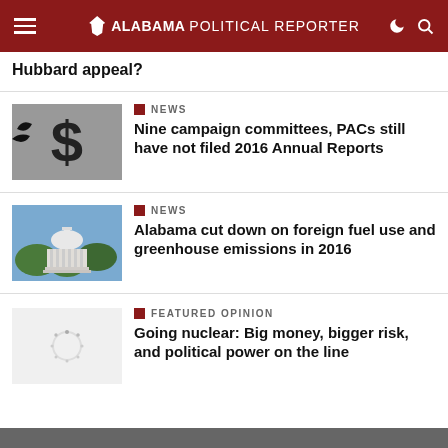Alabama Political Reporter
Hubbard appeal?
NEWS
Nine campaign committees, PACs still have not filed 2016 Annual Reports
NEWS
Alabama cut down on foreign fuel use and greenhouse emissions in 2016
FEATURED OPINION
Going nuclear: Big money, bigger risk, and political power on the line